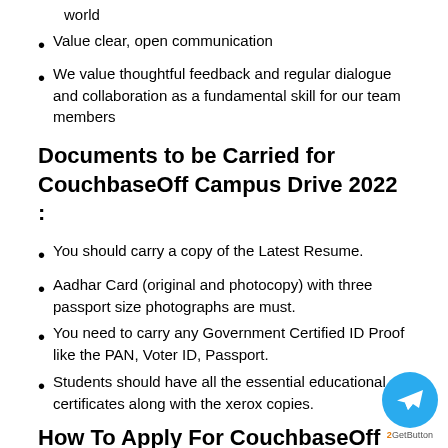world
Value clear, open communication
We value thoughtful feedback and regular dialogue and collaboration as a fundamental skill for our team members
Documents to be Carried for CouchbaseOff Campus Drive 2022 :
You should carry a copy of the Latest Resume.
Aadhar Card (original and photocopy) with three passport size photographs are must.
You need to carry any Government Certified ID Proof like the PAN, Voter ID, Passport.
Students should have all the essential educational certificates along with the xerox copies.
How To Apply For CouchbaseOff Campus Drive 2022 :